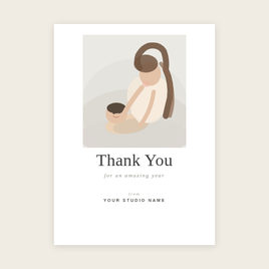[Figure (photo): A woman leaning down to kiss a young child who is smiling and looking up, both on a light background, soft natural light]
Thank You
for an amazing year
from
YOUR STUDIO NAME